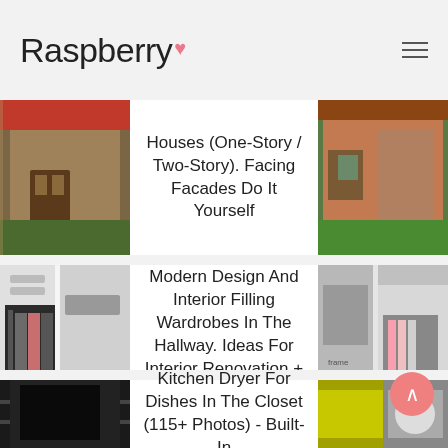Raspberry
[Figure (photo): Website article card: two house exterior photos flanking centered article title text on white background]
Houses (One-Story / Two-Story). Facing Facades Do It Yourself
[Figure (photo): Website article card: two wardrobe/hallway closet photos flanking centered article title text on white background]
Modern Design And Interior Filling Wardrobes In The Hallway. Ideas For Interior Renovation + 95 PHOTOS
[Figure (photo): Website article card: kitchen dish dryer photos flanking centered article title text on white background]
Kitchen Dryer For Dishes In The Closet (115+ Photos) - Built-In